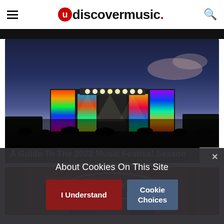uDiscover Music
[Figure (photo): Music festival stage at dusk with colorful LED displays and crowd in foreground]
A Guide To The 2022 Music Festival Season
[Figure (photo): Opry stage with performers and red curtains, Opry logo visible]
About Cookies On This Site
I Understand
Cookie Choices